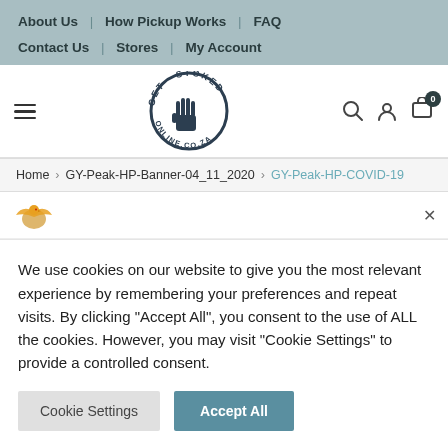About Us | How Pickup Works | FAQ | Contact Us | Stores | My Account
[Figure (logo): Get Stoked Online logo — circular badge with fist and text 'GET.STOKED ONLINE.CO.ZA']
Home > GY-Peak-HP-Banner-04_11_2020 > GY-Peak-HP-COVID-19
We use cookies on our website to give you the most relevant experience by remembering your preferences and repeat visits. By clicking “Accept All”, you consent to the use of ALL the cookies. However, you may visit "Cookie Settings" to provide a controlled consent.
Cookie Settings
Accept All